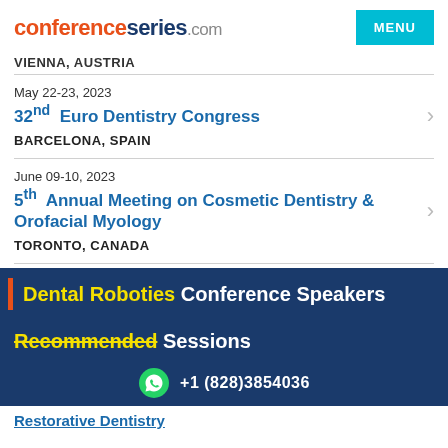conferenceseries.com
VIENNA, AUSTRIA
May 22-23, 2023 | 32nd Euro Dentistry Congress | BARCELONA, SPAIN
June 09-10, 2023 | 5th Annual Meeting on Cosmetic Dentistry & Orofacial Myology | TORONTO, CANADA
Dental Roboties Conference Speakers
Recommended Sessions
+1 (828)3854036
Restorative Dentistry